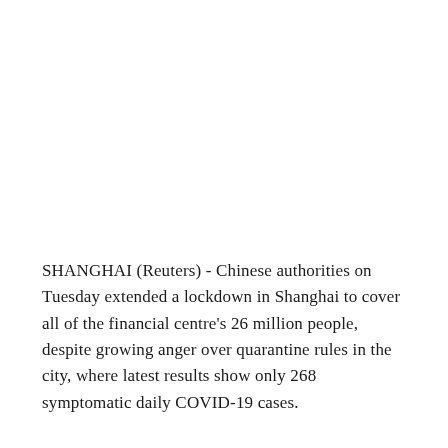SHANGHAI (Reuters) - Chinese authorities on Tuesday extended a lockdown in Shanghai to cover all of the financial centre's 26 million people, despite growing anger over quarantine rules in the city, where latest results show only 268 symptomatic daily COVID-19 cases.